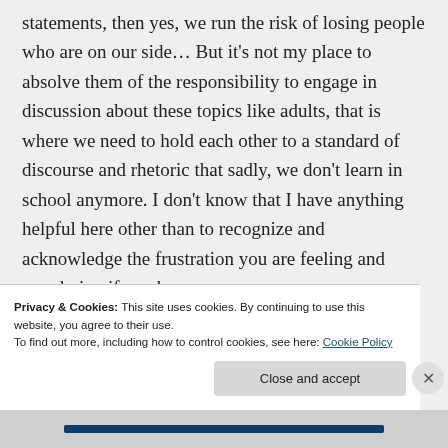statements, then yes, we run the risk of losing people who are on our side… But it's not my place to absolve them of the responsibility to engage in discussion about these topics like adults, that is where we need to hold each other to a standard of discourse and rhetoric that sadly, we don't learn in school anymore. I don't know that I have anything helpful here other than to recognize and acknowledge the frustration you are feeling and wondering if maybe
Privacy & Cookies: This site uses cookies. By continuing to use this website, you agree to their use.
To find out more, including how to control cookies, see here: Cookie Policy